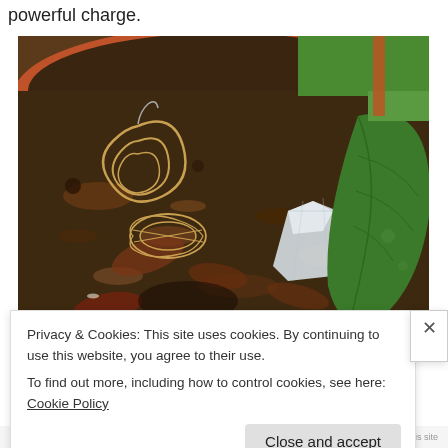powerful charge.
[Figure (photo): A photo of a terracotta pot filled with dark soil, mulch, and plant debris. A wire spiral earring/ornament is visible on the left side, and a clear quartz crystal sits in the center of the soil. A large green leaf is visible on the right side of the pot, with green grass in the background.]
Privacy & Cookies: This site uses cookies. By continuing to use this website, you agree to their use.
To find out more, including how to control cookies, see here: Cookie Policy
Close and accept